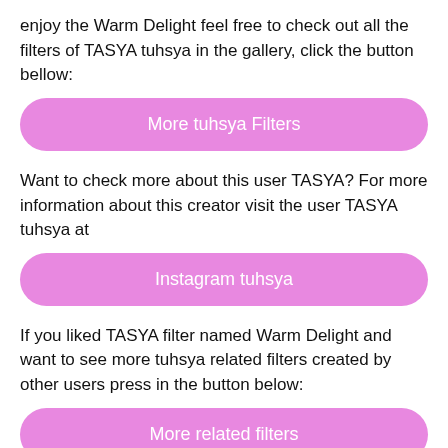enjoy the Warm Delight feel free to check out all the filters of TASYA tuhsya in the gallery, click the button bellow:
More tuhsya Filters
Want to check more about this user TASYA? For more information about this creator visit the user TASYA tuhsya at
Instagram tuhsya
If you liked TASYA filter named Warm Delight and want to see more tuhsya related filters created by other users press in the button below:
More related filters
Important Keywords and information:
Upload date Mon Dec 09 2019, Filter Warm Delight, by user